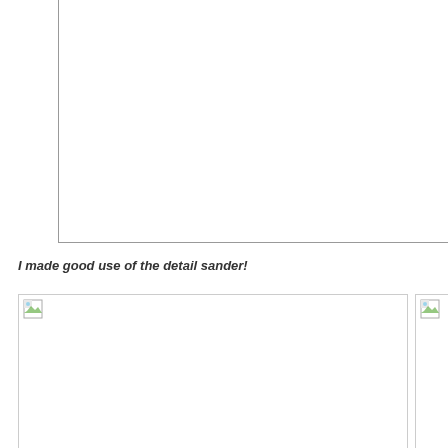[Figure (other): Empty bordered box, top portion of page, likely containing an image that did not load]
I made good use of the detail sander!
[Figure (photo): Broken/unloaded image placeholder, large left image]
[Figure (photo): Broken/unloaded image placeholder, partial right image]